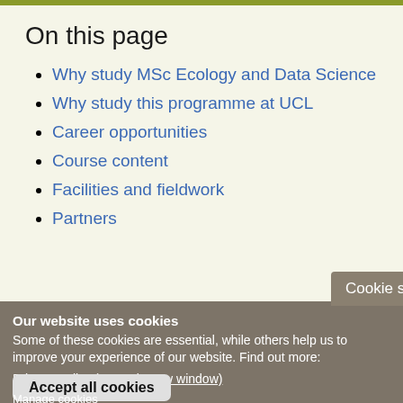On this page
Why study MSc Ecology and Data Science
Why study this programme at UCL
Career opportunities
Course content
Facilities and fieldwork
Partners
Cookie settings
Our website uses cookies
Some of these cookies are essential, while others help us to improve your experience of our website. Find out more:
Privacy Policy (opens in new window)
Accept all cookies
Manage cookies